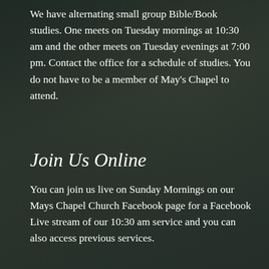We have alternating small group Bible/Book studies. One meets on Tuesday mornings at 10:30 am and the other meets on Tuesday evenings at 7:00 pm. Contact the office for a schedule of studies. You do not have to be a member of May's Chapel to attend.
Join Us Online
You can join us live on Sunday Mornings on our Mays Chapel Church Facebook page for a Facebook Live stream of our 10:30 am service and you can also access previous services.